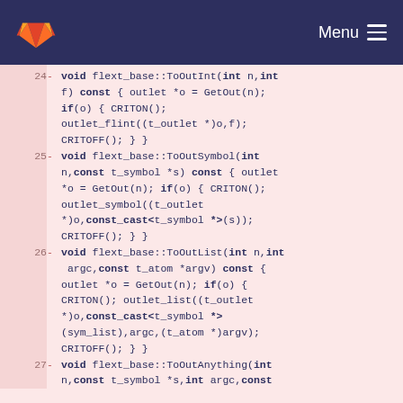GitLab logo | Menu
[Figure (screenshot): Code diff view showing C++ method definitions for flext_base class, lines 24-27, with diff markers and syntax highlighting on pink background.]